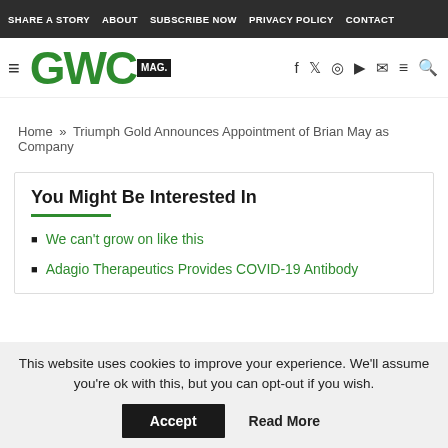SHARE A STORY  ABOUT  SUBSCRIBE NOW  PRIVACY POLICY  CONTACT
[Figure (logo): GWC MAG logo with hamburger menu and social icons]
Home » Triumph Gold Announces Appointment of Brian May as Company
You Might Be Interested In
We can't grow on like this
Adagio Therapeutics Provides COVID-19 Antibody
This website uses cookies to improve your experience. We'll assume you're ok with this, but you can opt-out if you wish.